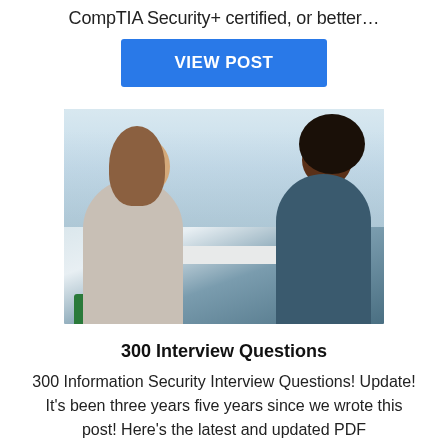CompTIA Security+ certified, or better…
VIEW POST
[Figure (photo): Two people sitting across from each other at a white table near a large window with a city skyline in the background, appearing to be in an interview or meeting setting.]
300 Interview Questions
300 Information Security Interview Questions! Update! It's been three years five years since we wrote this post! Here's the latest and updated PDF